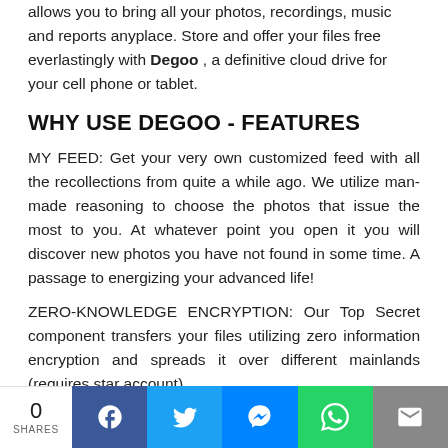allows you to bring all your photos, recordings, music and reports anyplace. Store and offer your files free everlastingly with Degoo , a definitive cloud drive for your cell phone or tablet.
WHY USE DEGOO - FEATURES
MY FEED: Get your very own customized feed with all the recollections from quite a while ago. We utilize man-made reasoning to choose the photos that issue the most to you. At whatever point you open it you will discover new photos you have not found in some time. A passage to energizing your advanced life!
ZERO-KNOWLEDGE ENCRYPTION: Our Top Secret component transfers your files utilizing zero information encryption and spreads it over different mainlands (requires star account).
0 SHARES | Facebook | Twitter | Messenger | WhatsApp | Email